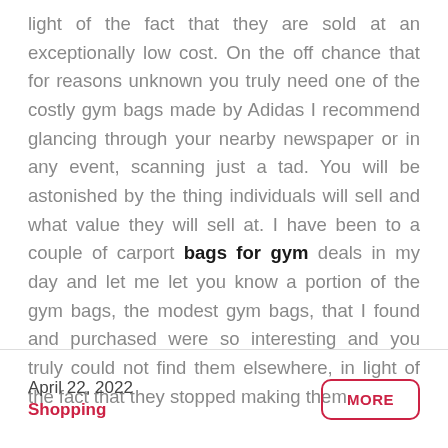light of the fact that they are sold at an exceptionally low cost. On the off chance that for reasons unknown you truly need one of the costly gym bags made by Adidas I recommend glancing through your nearby newspaper or in any event, scanning just a tad. You will be astonished by the thing individuals will sell and what value they will sell at. I have been to a couple of carport bags for gym deals in my day and let me let you know a portion of the gym bags, the modest gym bags, that I found and purchased were so interesting and you truly could not find them elsewhere, in light of the fact that they stopped making them.
April 22, 2022
Shopping
MORE